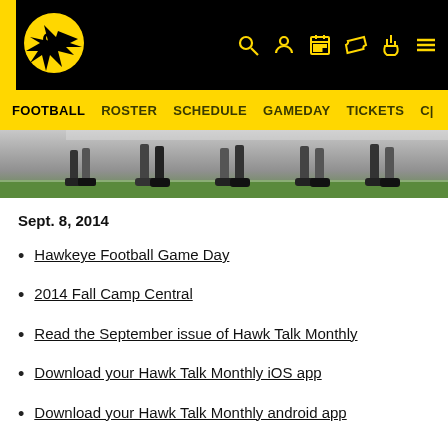Iowa Hawkeyes Football - header navigation with logo, search, roster, schedule, gameday, tickets
[Figure (photo): Football players' feet and legs on field, close-up action shot]
Sept. 8, 2014
Hawkeye Football Game Day
2014 Fall Camp Central
Read the September issue of Hawk Talk Monthly
Download your Hawk Talk Monthly iOS app
Download your Hawk Talk Monthly android app